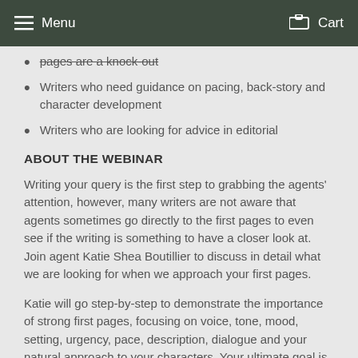Menu   Cart
pages are a knock-out
Writers who need guidance on pacing, back-story and character development
Writers who are looking for advice in editorial
ABOUT THE WEBINAR
Writing your query is the first step to grabbing the agents' attention, however, many writers are not aware that agents sometimes go directly to the first pages to even see if the writing is something to have a closer look at. Join agent Katie Shea Boutillier to discuss in detail what we are looking for when we approach your first pages.
Katie will go step-by-step to demonstrate the importance of strong first pages, focusing on voice, tone, mood, setting, urgency, pace, description, dialogue and your natural approach to your characters. Your ultimate goal is to make sure your reader (agent, editors, and beyond) are into your work immediately, and Katie will guide you with her knowledge and experience what makes impressive first